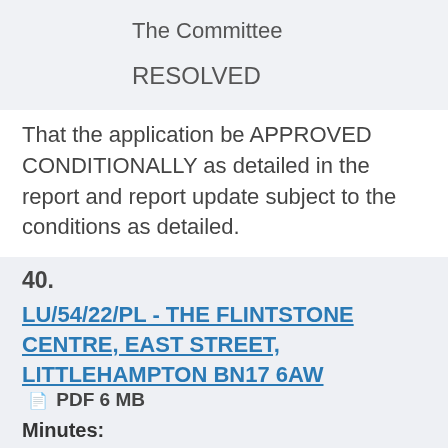The Committee
RESOLVED
That the application be APPROVED CONDITIONALLY as detailed in the report and report update subject to the conditions as detailed.
40.
LU/54/22/PL - THE FLINTSTONE CENTRE, EAST STREET, LITTLEHAMPTON BN17 6AW  PDF 6 MB
Minutes:
1 Public Speaker
Ian Kuehnel – Objector